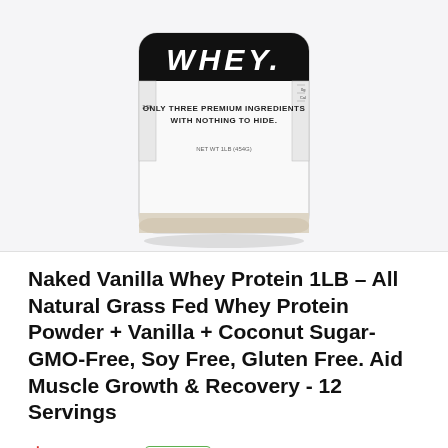[Figure (photo): Product photo of a white canister of Naked Vanilla Whey Protein with black top label reading 'WHEY' and text 'ONLY THREE PREMIUM INGREDIENTS WITH NOTHING TO HIDE. NET WT 1LB (454G)']
Naked Vanilla Whey Protein 1LB – All Natural Grass Fed Whey Protein Powder + Vanilla + Coconut Sugar- GMO-Free, Soy Free, Gluten Free. Aid Muscle Growth & Recovery - 12 Servings
$23.99 in stock
BUY NOW